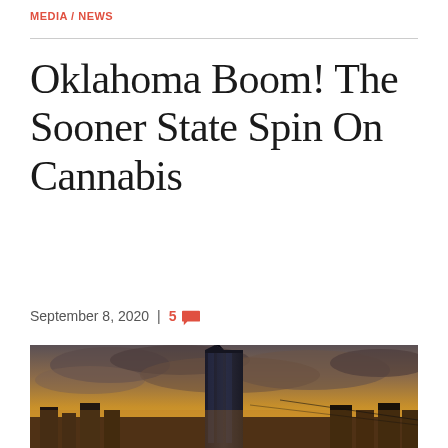MEDIA / NEWS
Oklahoma Boom! The Sooner State Spin On Cannabis
September 8, 2020  |  5 💬
[Figure (photo): Oklahoma City skyline at dramatic sunset with dark storm clouds, featuring a tall glass skyscraper in the center, warm orange and golden hues in the sky]